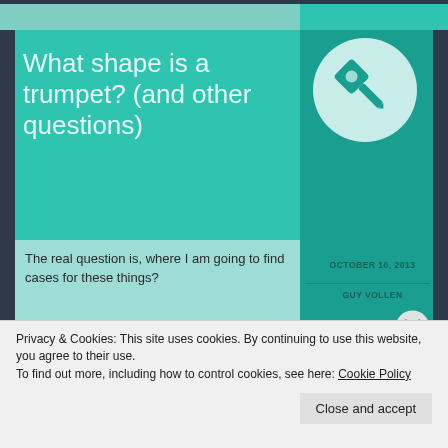What shape is a trumpet? (and other questions)
[Figure (illustration): Pin/thumbtack icon in a light teal circle on a dark teal background]
The real question is, where I am going to find cases for these things?
OCTOBER 10, 2013
GUY VOLLEN
[Figure (photo): Photo of a silver/metallic trumpet instrument]
Privacy & Cookies: This site uses cookies. By continuing to use this website, you agree to their use.
To find out more, including how to control cookies, see here: Cookie Policy
Close and accept